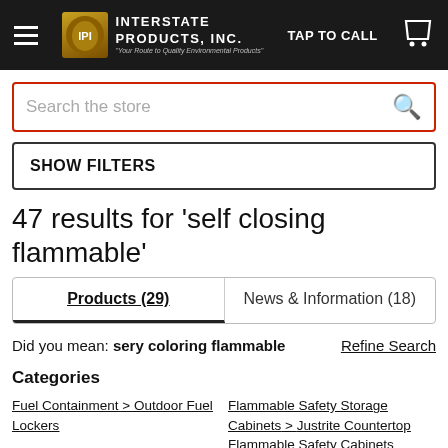Interstate Products, Inc. — TAP TO CALL
Search the store
SHOW FILTERS
47 results for 'self closing flammable'
Products (29)   News & Information (18)
Did you mean: sery coloring flammable   Refine Search
Categories
Fuel Containment > Outdoor Fuel Lockers
Flammable Safety Storage Cabinets > Justrite Countertop Flammable Safety Cabinets
Safety Cabinets > Eagle Cabinets > Eagle Flammable
Safety Cabinets